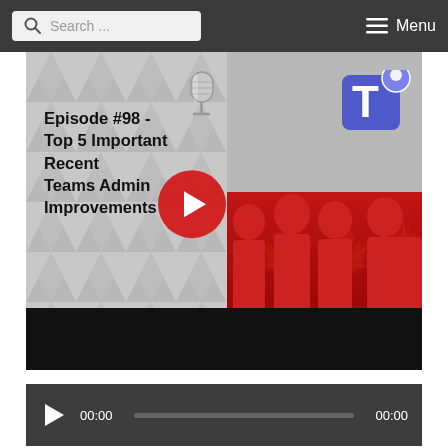Search ... Menu
[Figure (screenshot): YouTube video thumbnail for Episode #98 - Top 5 Important Recent Teams Admin Improvements. Shows video title text on grey geometric background with Microsoft Teams logo and microphone icon. Right side shows people in red Canadian hockey jerseys with O365Eh.co watermark. Red YouTube play button overlay in center. Black bar at bottom.]
[Figure (screenshot): Audio player bar with play button, 00:00 start time, progress bar, and 00:00 end time on dark grey background.]